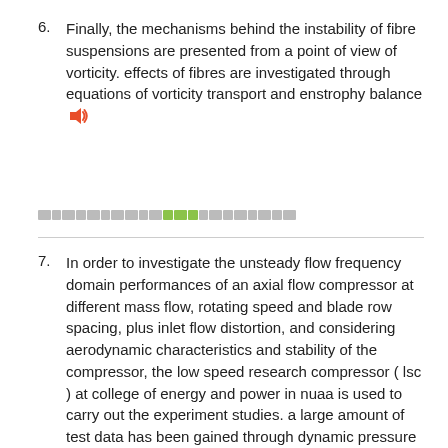6. Finally, the mechanisms behind the instability of fibre suspensions are presented from a point of view of vorticity. effects of fibres are investigated through equations of vorticity transport and enstrophy balance
7. In order to investigate the unsteady flow frequency domain performances of an axial flow compressor at different mass flow, rotating speed and blade row spacing, plus inlet flow distortion, and considering aerodynamic characteristics and stability of the compressor, the low speed research compressor ( lsc ) at college of energy and power in nuaa is used to carry out the experiment studies. a large amount of test data has been gained through dynamic pressure transducers embedded in the stator blades at the tip, middle and hub section, then fast fourier transform algorithm ( fft ) is applied to calculate the frequency data